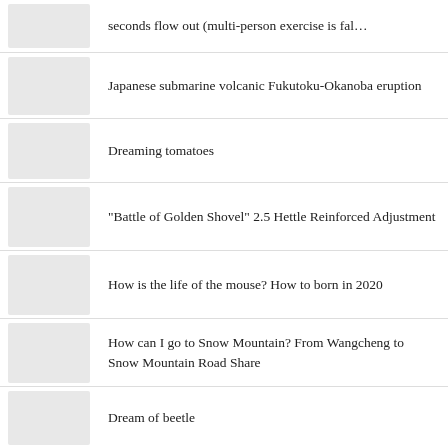seconds flow out (multi-person exercise is fal…
Japanese submarine volcanic Fukutoku-Okanoba eruption
Dreaming tomatoes
"Battle of Golden Shovel" 2.5 Hettle Reinforced Adjustment
How is the life of the mouse? How to born in 2020
How can I go to Snow Mountain? From Wangcheng to Snow Mountain Road Share
Dream of beetle